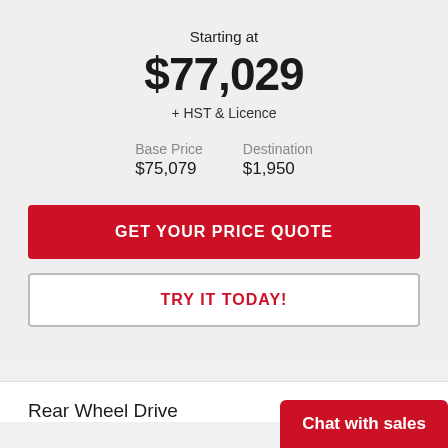Starting at
$77,029
+ HST & Licence
| Base Price | Destination |
| --- | --- |
| $75,079 | $1,950 |
GET YOUR PRICE QUOTE
TRY IT TODAY!
Rear Wheel Drive
Chat with sales